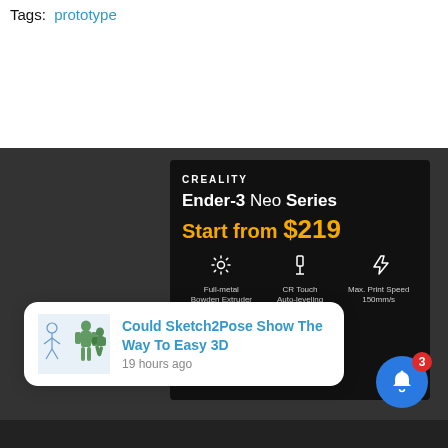Tags: prototype
[Figure (infographic): Creality Ender-3 Neo Series advertisement. Dark background with CREALITY logo, product name 'Ender-3 Neo Series', price 'Start from $219', and three feature icons: Full-metal Bowden Extruder, CR Touch Auto-leveling, Max. Print Speed 150mm/s]
Could Sketch2Pose Show The Way To Easy 3D
19 hours ago